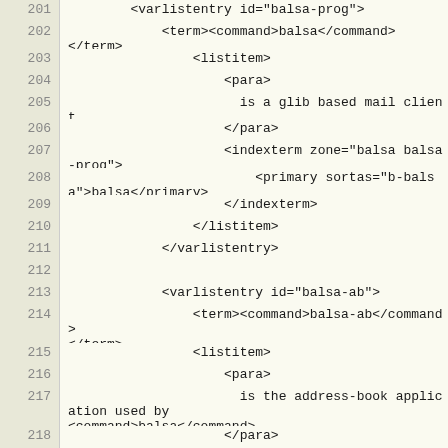201  <varlistentry id="balsa-prog">
202      <term><command>balsa</command></term>
203          <listitem>
204              <para>
205                is a glib based mail client.
206              </para>
207              <indexterm zone="balsa balsa-prog">
208                  <primary sortas="b-balsa">balsa</primary>
209              </indexterm>
210          </listitem>
211      </varlistentry>
212
213      <varlistentry id="balsa-ab">
214          <term><command>balsa-ab</command></term>
215          <listitem>
216              <para>
217                is the address-book application used by <command>balsa</command>.
218              </para>